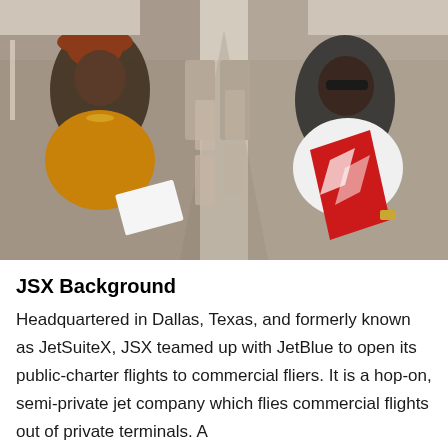[Figure (photo): Two people sitting in a semi-private jet cabin interior. A woman on the left wearing a yellow top and red hat holds documents, a man on the right wearing a white t-shirt and sunglasses holds a red JSX branded folder. Beige leather seats and aisle visible in background.]
JSX Background
Headquartered in Dallas, Texas, and formerly known as JetSuiteX, JSX teamed up with JetBlue to open its public-charter flights to commercial fliers. It is a hop-on, semi-private jet company which flies commercial flights out of private terminals. A